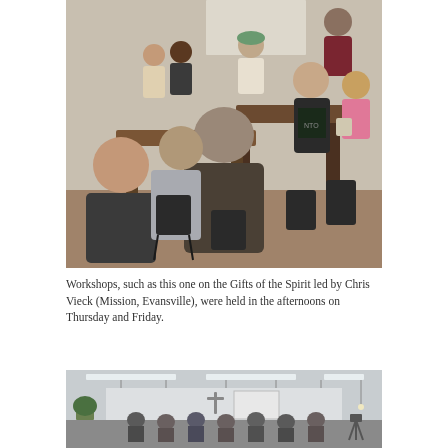[Figure (photo): A group of young people and an adult seated around tables in a room, engaged in a workshop discussion. A man with his back to the camera sits in the center foreground. Several young people are talking and gesturing around the tables. Plain walls and a wooden floor visible in the background.]
Workshops, such as this one on the Gifts of the Spirit led by Chris Vieck (Mission, Evansville), were held in the afternoons on Thursday and Friday.
[Figure (photo): A large room with hanging pendant lights and fluorescent strip lighting on the ceiling. People are seated in chairs facing a stage or front area where a projection screen and a cross are visible. Plants are visible on the sides.]